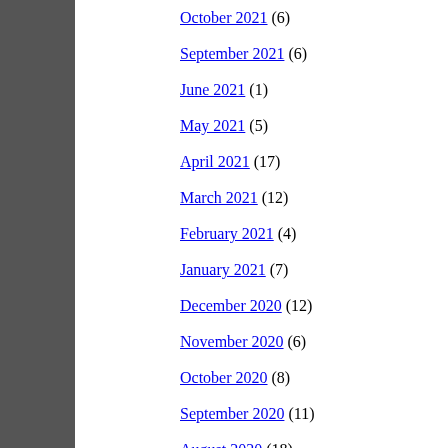October 2021 (6)
September 2021 (6)
June 2021 (1)
May 2021 (5)
April 2021 (17)
March 2021 (12)
February 2021 (4)
January 2021 (7)
December 2020 (12)
November 2020 (6)
October 2020 (8)
September 2020 (11)
August 2020 (18)
July 2020 (18)
June 2020 (10)
May 2020 (4)
March 2020 (5)